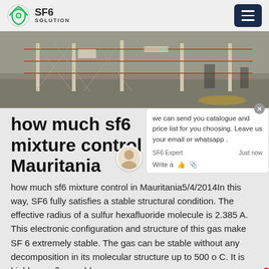SF6 SOLUTION
[Figure (photo): Outdoor photo showing chain-link fences and electrical equipment on a gravel ground]
how much sf6 mixture control in Mauritania
how much sf6 mixture control in Mauritania5/4/2014In this way, SF6 fully satisfies a stable structural condition. The effective radius of a sulfur hexafluoride molecule is 2.385 A. This electronic configuration and structure of this gas make SF 6 extremely stable. The gas can be stable without any decomposition in its molecular structure up to 500 o C. It is highly non-flammable.